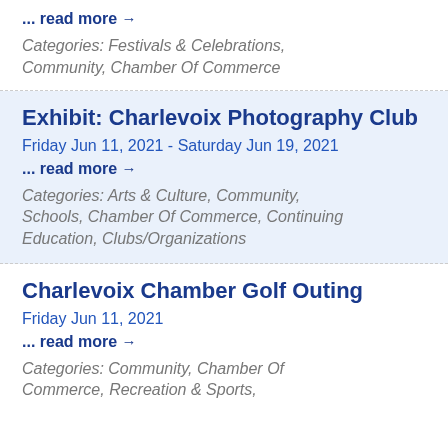... read more →
Categories: Festivals & Celebrations, Community, Chamber Of Commerce
Exhibit: Charlevoix Photography Club
Friday Jun 11, 2021 - Saturday Jun 19, 2021
... read more →
Categories: Arts & Culture, Community, Schools, Chamber Of Commerce, Continuing Education, Clubs/Organizations
Charlevoix Chamber Golf Outing
Friday Jun 11, 2021
... read more →
Categories: Community, Chamber Of Commerce, Recreation & Sports,